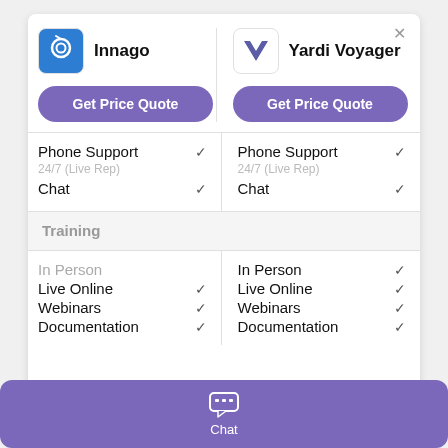[Figure (screenshot): Comparison widget showing Innago vs Yardi Voyager software with Get Price Quote buttons, support features (Phone Support, Chat) with checkmarks, Training section header, and training options (In Person - muted for Innago, Live Online, Webinars, Documentation) with checkmarks]
Innago
Yardi Voyager
Get Price Quote
Get Price Quote
Phone Support
24/7 (Live Rep)
Chat
Phone Support
24/7 (Live Rep)
Chat
Training
In Person
Live Online
Webinars
Documentation
In Person
Live Online
Webinars
Documentation
Chat